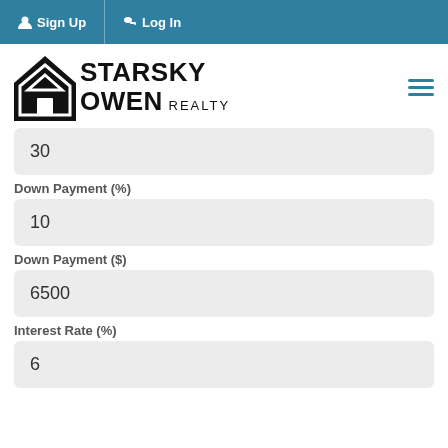Sign Up  Log In
[Figure (logo): Starsky Owen Realty logo with house icon]
30
Down Payment (%)
10
Down Payment ($)
6500
Interest Rate (%)
6